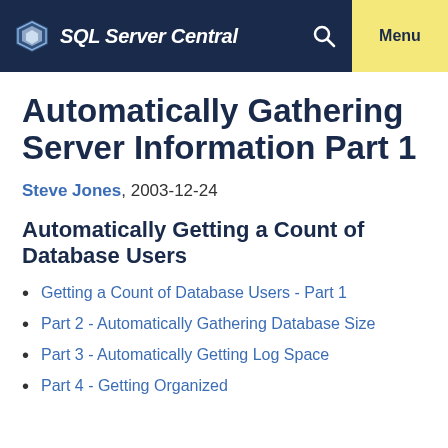SQL Server Central  Menu
Automatically Gathering Server Information Part 1
Steve Jones, 2003-12-24
Automatically Getting a Count of Database Users
Getting a Count of Database Users - Part 1
Part 2 - Automatically Gathering Database Size
Part 3 - Automatically Getting Log Space
Part 4 - Getting Organized